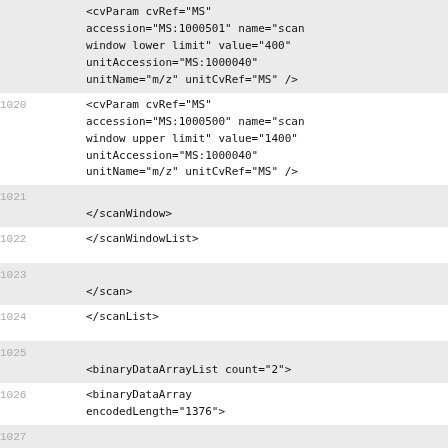<cvParam cvRef="MS" accession="MS:1000501" name="scan window lower limit" value="400" unitAccession="MS:1000040" unitName="m/z" unitCvRef="MS" />
1020
<cvParam cvRef="MS" accession="MS:1000500" name="scan window upper limit" value="1400" unitAccession="MS:1000040" unitName="m/z" unitCvRef="MS" />
1021
</scanWindow>
1022
</scanWindowList>
1023
</scan>
1024
</scanList>
1025
<binaryDataArrayList count="2">
1026
<binaryDataArray encodedLength="1376">
1027
<cvParam cvRef="MS" accession="MS:1000514" name="m/z array" unitAccession="MS:1000040" unitName="m/z" unitCvRef="MS" />
1028
<cvParam cvRef="MS"